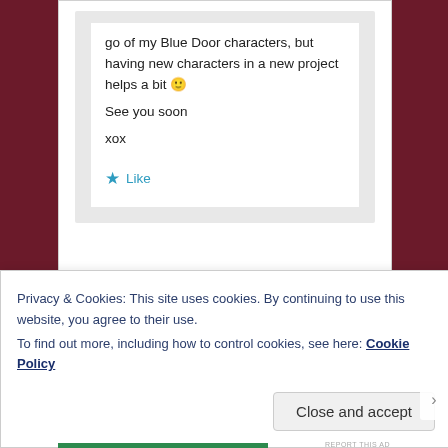go of my Blue Door characters, but having new characters in a new project helps a bit 🙂 See you soon xox
Like
REPORT THIS AD
Privacy & Cookies: This site uses cookies. By continuing to use this website, you agree to their use.
To find out more, including how to control cookies, see here: Cookie Policy
Close and accept
REPORT THIS AD